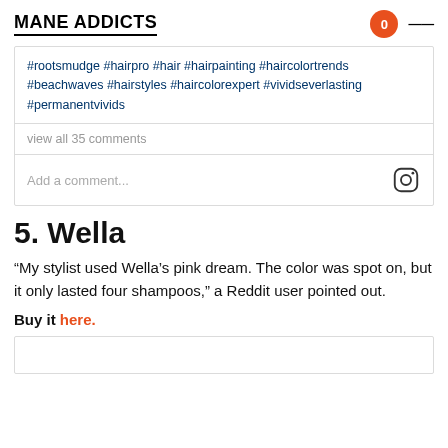MANE ADDICTS
#rootsmudge #hairpro #hair #hairpainting #haircolortrends #beachwaves #hairstyles #haircolorexpert #vividseverlasting #permanentvivids
view all 35 comments
Add a comment...
5. Wella
“My stylist used Wella’s pink dream. The color was spot on, but it only lasted four shampoos,” a Reddit user pointed out.
Buy it here.